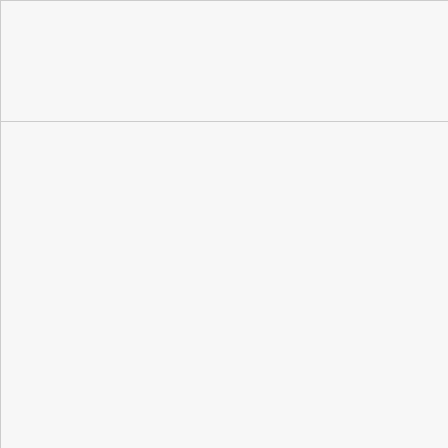|  | 260 |
| turn2.rna1.turn.blindsidenetworks.com | 67.
72.
72.
72.
72.
260
260 |
|  | 178 |